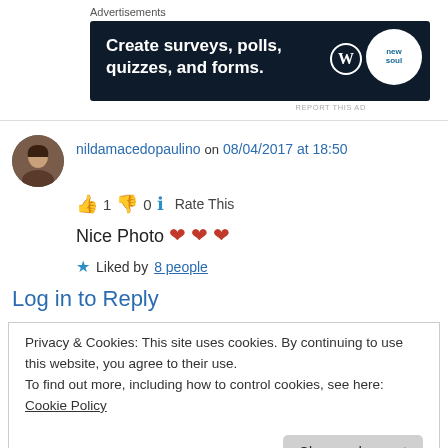Advertisements
[Figure (screenshot): Dark blue advertisement banner: 'Create surveys, polls, quizzes, and forms.' with WordPress logo and a circular logo on the right.]
REPORT THIS AD
nildamacedopaulino on 08/04/2017 at 18:50
👍 1 👎 0 ℹ Rate This
Nice Photo ❤ ❤ ❤
★ Liked by 8 people
Log in to Reply
Privacy & Cookies: This site uses cookies. By continuing to use this website, you agree to their use.
To find out more, including how to control cookies, see here: Cookie Policy
Close and accept
nominated you for the Liebster Blog Award! 🙂